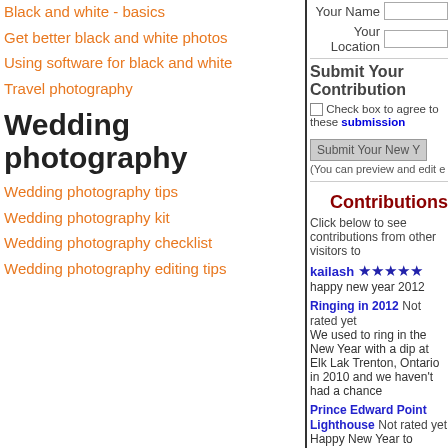Black and white - basics
Get better black and white photos
Using software for black and white
Travel photography
Wedding photography
Wedding photography tips
Wedding photography kit
Wedding photography checklist
Wedding photography editing tips
Your Name
Your Location
Submit Your Contribution
Check box to agree to these submission
Submit Your New Y
(You can preview and edit e
Contributions
Click below to see contributions from other visitors to
kailash ★★★★★
happy new year 2012
Ringing in 2012 Not rated yet
We used to ring in the New Year with a dip at Elk Lak Trenton, Ontario in 2010 and we haven't had a chance
Prince Edward Point Lighthouse Not rated yet
Happy New Year to Darrell and friends! Once again, w here in Belleville, Ontario, Canada. The little snow tha